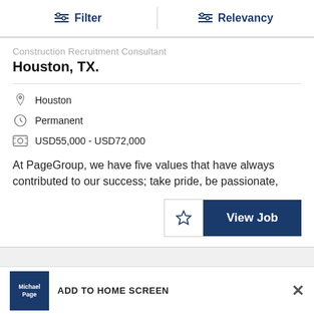Filter   Relevancy
Houston, TX.
Houston
Permanent
USD55,000 - USD72,000
At PageGroup, we have five values that have always contributed to our success; take pride, be passionate,
ADD TO HOME SCREEN